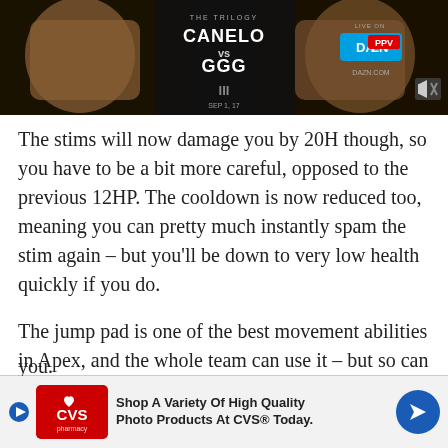[Figure (screenshot): Advertisement banner for Canelo vs GGG III boxing match on DAZN PPV, dark background with two fighter faces and text 'THE TRILOGY CANELO GGG SEP 1, 17 LIVE ON DAZN PPV DAZN.COM']
The stims will now damage you by 20H though, so you have to be a bit more careful, opposed to the previous 12HP. The cooldown is now reduced too, meaning you can pretty much instantly spam the stim again – but you'll be down to very low health quickly if you do.
The jump pad is one of the best movement abilities in Apex, and the whole team can use it – but so can enemies.
He's not quite as good as the S-tier characters, and his abilities won't help you win many gunfights, but if you're...you.
[Figure (screenshot): CVS Pharmacy advertisement banner: 'Shop A Variety Of High Quality Photo Products At CVS® Today.' with CVS logo and navigation arrow icon]